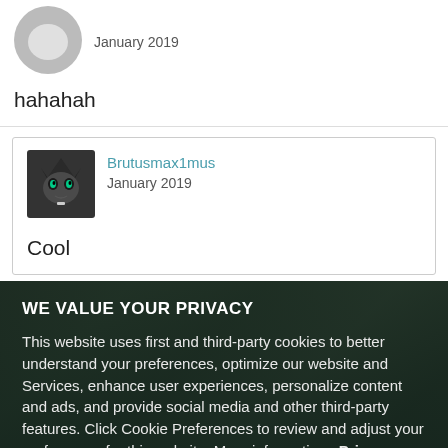January 2019
hahahah
Brutusmax1mus
January 2019
Cool
WE VALUE YOUR PRIVACY
This website uses first and third-party cookies to better understand your preferences, optimize our website and Services, enhance user experiences, personalize content and ads, and provide social media and other third-party features. Click Cookie Preferences to review and adjust your preferences for this website. More information: Privacy Policy
Cookie Preferences
OK